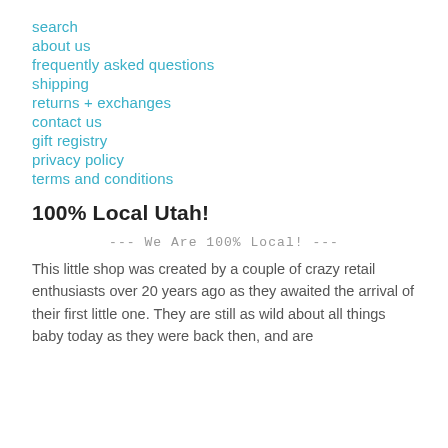search
about us
frequently asked questions
shipping
returns + exchanges
contact us
gift registry
privacy policy
terms and conditions
100% Local Utah!
--- We Are 100% Local! ---
This little shop was created by a couple of crazy retail enthusiasts over 20 years ago as they awaited the arrival of their first little one. They are still as wild about all things baby today as they were back then, and are